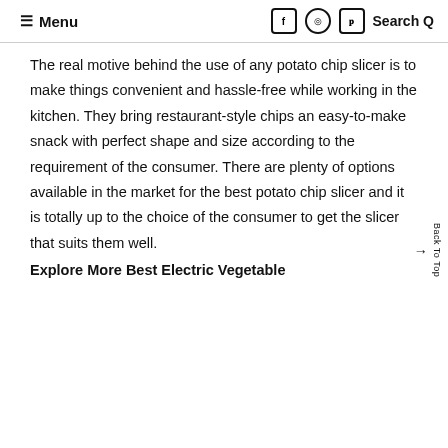≡ Menu   Search Q
The real motive behind the use of any potato chip slicer is to make things convenient and hassle-free while working in the kitchen. They bring restaurant-style chips an easy-to-make snack with perfect shape and size according to the requirement of the consumer. There are plenty of options available in the market for the best potato chip slicer and it is totally up to the choice of the consumer to get the slicer that suits them well.
Explore More Best Electric Vegetable